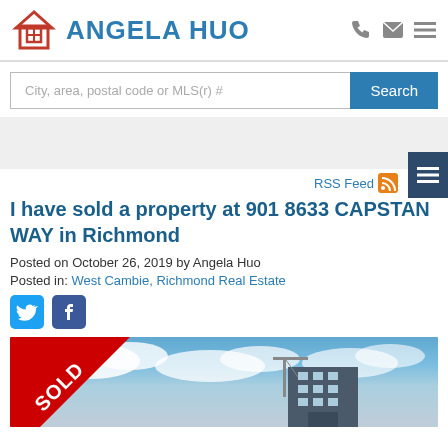ANGELA HUO
City, area, postal code or MLS(r) #
I have sold a property at 901 8633 CAPSTAN WAY in Richmond
Posted on October 26, 2019 by Angela Huo
Posted in: West Cambie, Richmond Real Estate
[Figure (photo): Property photo with SOLD ribbon banner over a building with blue sky background]